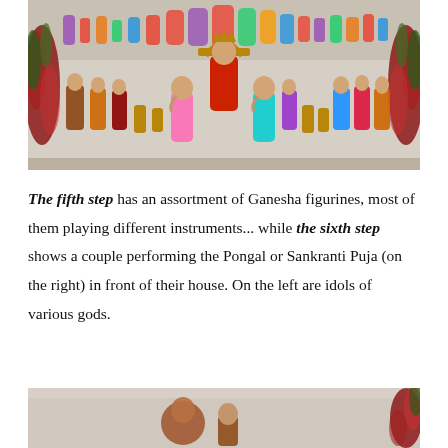[Figure (photo): A display shelf with colorful Hindu deity figurines and Ganesha statues arranged on a table covered with a grey cloth, decorated with red flowers on both sides. A large central Lakshmi figurine with golden arch is prominent.]
The fifth step has an assortment of Ganesha figurines, most of them playing different instruments... while the sixth step shows a couple performing the Pongal or Sankranti Puja (on the right) in front of their house. On the left are idols of various gods.
[Figure (photo): A partially visible photo at the bottom of the page showing figurines on a table with grey cloth and red flowers on the right side.]